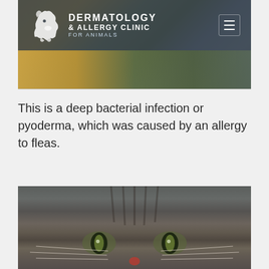[Figure (photo): Header photo of a dog with blurred background showing orange/brown fur and green carpet, with clinic logo overlay]
DERMATOLOGY & ALLERGY CLINIC FOR ANIMALS
This is a deep bacterial infection or pyoderma, which was caused by an allergy to fleas.
[Figure (photo): Close-up photo of a tabby cat's face showing green eyes and a skin lesion on the nose area]